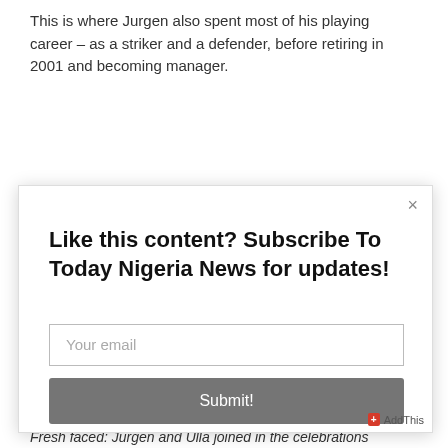This is where Jurgen also spent most of his playing career – as a striker and a defender, before retiring in 2001 and becoming manager.
[Figure (screenshot): Modal popup overlay on a news article page with a newsletter subscription form. Contains close button (×), heading 'Like this content? Subscribe To Today Nigeria News for updates!', an email input field labeled 'Your email', and a grey 'Submit!' button. An AddThis badge is visible in the bottom-right corner.]
Fresh faced: Jurgen and Ulla joined in the celebrations